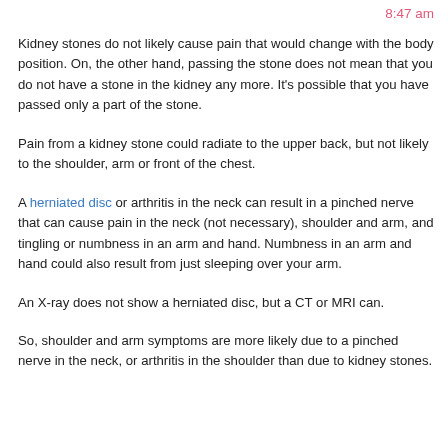8:47 am
Kidney stones do not likely cause pain that would change with the body position. On, the other hand, passing the stone does not mean that you do not have a stone in the kidney any more. It's possible that you have passed only a part of the stone.
Pain from a kidney stone could radiate to the upper back, but not likely to the shoulder, arm or front of the chest.
A herniated disc or arthritis in the neck can result in a pinched nerve that can cause pain in the neck (not necessary), shoulder and arm, and tingling or numbness in an arm and hand. Numbness in an arm and hand could also result from just sleeping over your arm.
An X-ray does not show a herniated disc, but a CT or MRI can.
So, shoulder and arm symptoms are more likely due to a pinched nerve in the neck, or arthritis in the shoulder than due to kidney stones.